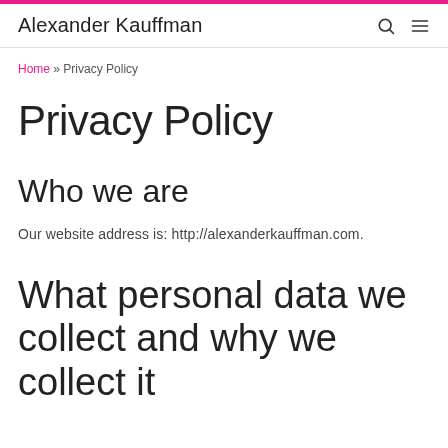Alexander Kauffman
Home » Privacy Policy
Privacy Policy
Who we are
Our website address is: http://alexanderkauffman.com.
What personal data we collect and why we collect it